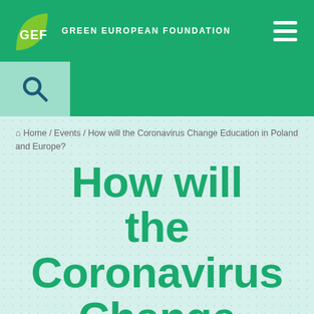GEF GREEN EUROPEAN FOUNDATION
Home / Events / How will the Coronavirus Change Education in Poland and Europe?
How will the Coronavirus Change Education